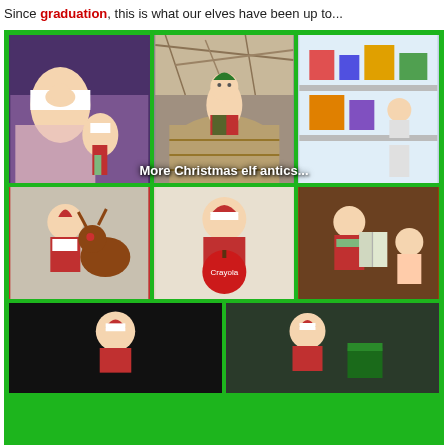Since graduation, this is what our elves have been up to...
[Figure (photo): A collage of Christmas elf toy photos on a green background. Top row: three photos showing elf dolls in various poses — one with a purple blanket and smaller elf, one elf doll in a basket with straw, one elf near a LEGO set. An overlay text reads 'More Christmas elf antics...'. Middle row: three more elf photos — elf with a reindeer toy, elf hugging a red ball/apple, elf reading a book with a baby doll. Bottom row: two more photos of elf toys against dark backgrounds.]